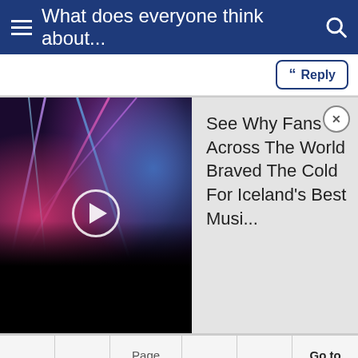What does everyone think about...
Reply
[Figure (screenshot): Video thumbnail of a concert/music event with stage lights and a crowd silhouette; a circular play button is overlaid in the center.]
See Why Fans Across The World Braved The Cold For Iceland's Best Musi...
First  <  Page 1 of 5  >  Last  Go to Page
Subscribe